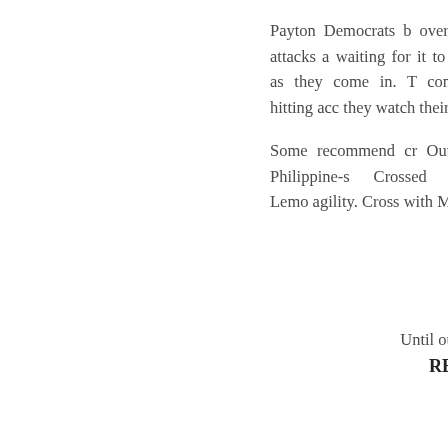Payton Democrats b overhead attacks a waiting for it to reco as they come in. T combat, hitting acc they watch their opp
Some recommend cr Out for Philippine-s Crossed with Lemo agility. Cross with Mc
Until our ne
REACH